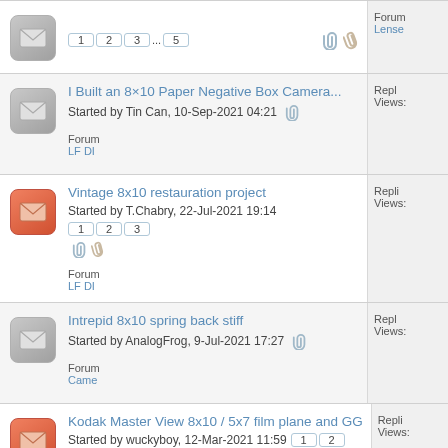I Built an 8×10 Paper Negative Box Camera... Started by Tin Can, 10-Sep-2021 04:21 | Forum: Lenses
Vintage 8x10 restauration project | Started by T.Chabry, 22-Jul-2021 19:14 | Pages: 1 2 3 | Forum: LF DI
Intrepid 8x10 spring back stiff | Started by AnalogFrog, 9-Jul-2021 17:27 | Forum: Came
Kodak Master View 8x10 / 5x7 film plane and GG | Started by wuckyboy, 12-Mar-2021 11:59 | Pages: 1 2 | Forum: Came